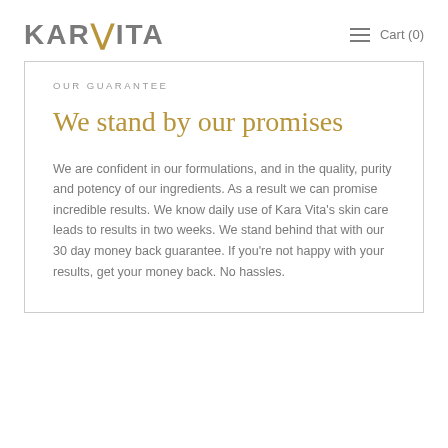KARAVITA  ≡  Cart (0)
OUR GUARANTEE
We stand by our promises
We are confident in our formulations, and in the quality, purity and potency of our ingredients. As a result we can promise incredible results. We know daily use of Kara Vita's skin care leads to results in two weeks. We stand behind that with our 30 day money back guarantee. If you're not happy with your results, get your money back. No hassles.